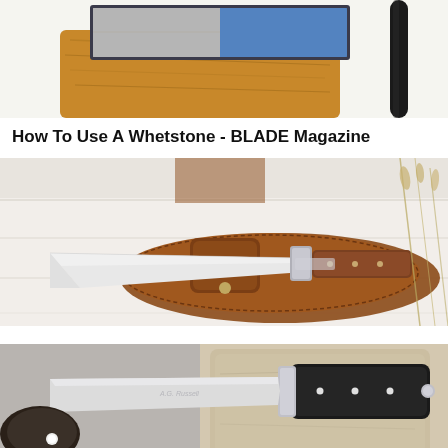[Figure (photo): Top portion of a whetstone sharpening stone on a wooden base with a black rod/pen beside it]
How To Use A Whetstone - BLADE Magazine
[Figure (photo): A hunting knife with a wood and metal handle resting on a brown leather sheath, with wheat stalks visible in the background on a white wooden surface]
[Figure (photo): Partial view of an A.G. Russell Chute knife with black handle next to a stone/rock surface]
A.G. Russell Chute Knives: A Quick History - BLADE Magazine